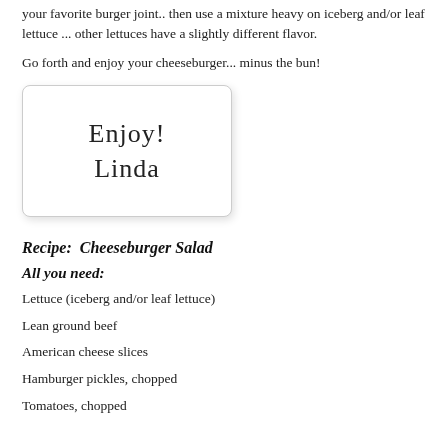your favorite burger joint.. then use a mixture heavy on iceberg and/or leaf lettuce ... other lettuces have a slightly different flavor.
Go forth and enjoy your cheeseburger... minus the bun!
[Figure (illustration): Handwritten signature in cursive reading 'Enjoy! Linda' inside a rounded rectangle box with shadow.]
Recipe:  Cheeseburger Salad
All you need:
Lettuce (iceberg and/or leaf lettuce)
Lean ground beef
American cheese slices
Hamburger pickles, chopped
Tomatoes, chopped